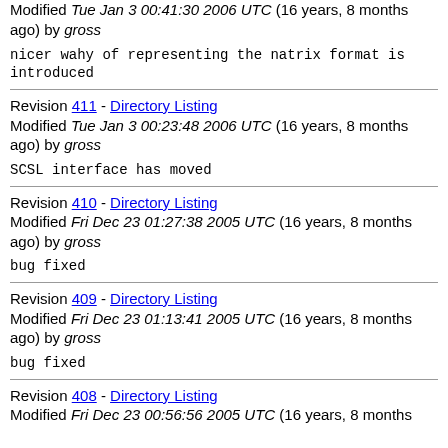Modified Tue Jan 3 00:41:30 2006 UTC (16 years, 8 months ago) by gross
nicer wahy of representing the natrix format is introduced
Revision 411 - Directory Listing
Modified Tue Jan 3 00:23:48 2006 UTC (16 years, 8 months ago) by gross
SCSL interface has moved
Revision 410 - Directory Listing
Modified Fri Dec 23 01:27:38 2005 UTC (16 years, 8 months ago) by gross
bug fixed
Revision 409 - Directory Listing
Modified Fri Dec 23 01:13:41 2005 UTC (16 years, 8 months ago) by gross
bug fixed
Revision 408 - Directory Listing
Modified Fri Dec 23 00:56:56 2005 UTC (16 years, 8 months